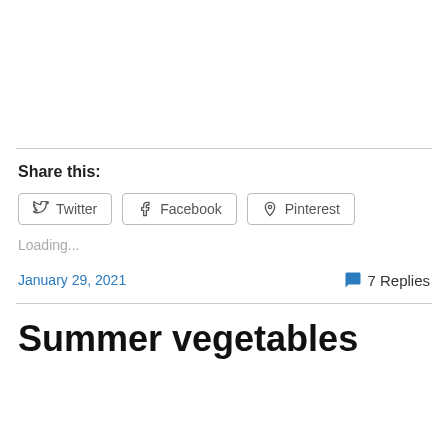Share this:
Twitter Facebook Pinterest
Loading...
January 29, 2021
7 Replies
Summer vegetables